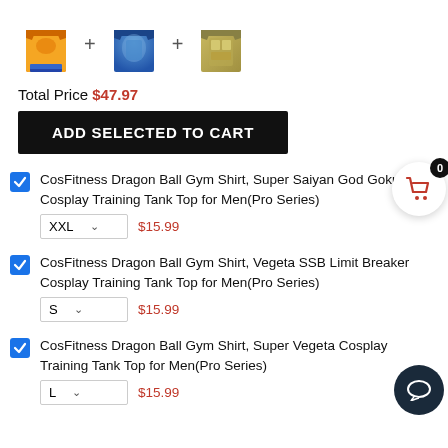[Figure (illustration): Three anime tank tops shown with plus signs between them: orange Goku top, blue Vegeta SSB top, and gold/silver Vegeta top]
Total Price $47.97
ADD SELECTED TO CART
CosFitness Dragon Ball Gym Shirt, Super Saiyan God Goku Cosplay Training Tank Top for Men(Pro Series) XXL $15.99
CosFitness Dragon Ball Gym Shirt, Vegeta SSB Limit Breaker Cosplay Training Tank Top for Men(Pro Series) S $15.99
CosFitness Dragon Ball Gym Shirt, Super Vegeta Cosplay Training Tank Top for Men(Pro Series) L $15.99